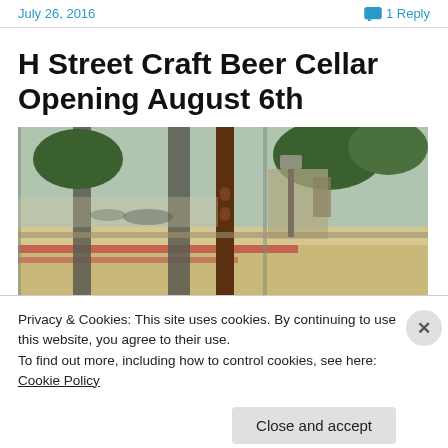July 26, 2016    💬 1 Reply
H Street Craft Beer Cellar Opening August 6th
[Figure (photo): Interior view looking out through glass storefront windows onto a street corner with cars and trees visible outside. A dark wooden post or fixture is in the foreground center.]
Privacy & Cookies: This site uses cookies. By continuing to use this website, you agree to their use.
To find out more, including how to control cookies, see here: Cookie Policy
Close and accept